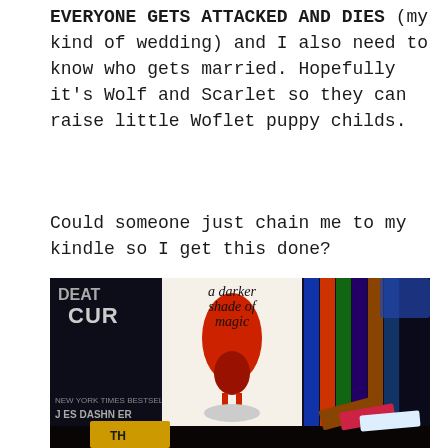EVERYONE GETS ATTACKED AND DIES (my kind of wedding) and I also need to know who gets married. Hopefully it's Wolf and Scarlet so they can raise little Woflet puppy childs.
Could someone just chain me to my kindle so I get this done?
[Figure (photo): Photo of stacked books including 'A Darker Shade of Magic' and what appears to be a James Dashner book, arranged in a dark-toned bookshelf setting]